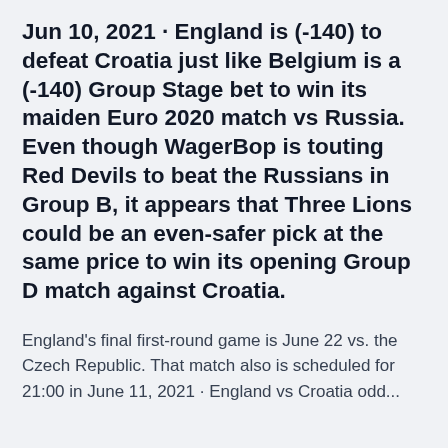Jun 10, 2021 · England is (-140) to defeat Croatia just like Belgium is a (-140) Group Stage bet to win its maiden Euro 2020 match vs Russia. Even though WagerBop is touting Red Devils to beat the Russians in Group B, it appears that Three Lions could be an even-safer pick at the same price to win its opening Group D match against Croatia.
England's final first-round game is June 22 vs. the Czech Republic. That match also is scheduled for 21:00 in June 11, 2021 · England vs Croatia odd...